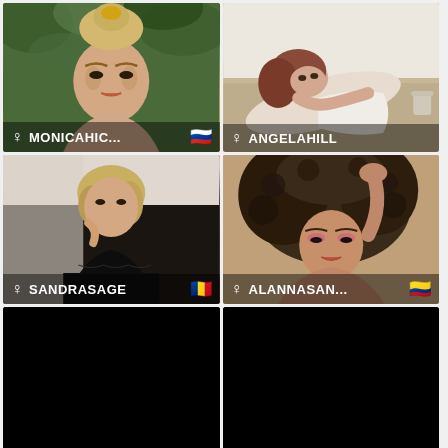[Figure (photo): Blonde woman with hair up, green foliage background, username MONICAHIC... with Russian flag]
[Figure (photo): Reclining woman in white lingerie on bed, username ANGELAHILL]
[Figure (photo): Woman in black outfit with short blonde hair, username SANDRASAGE with Romanian flag]
[Figure (photo): Woman with curly hair hand in hair, username ALANNASAN... with Colombian flag]
[Figure (photo): Black/dark image, no visible content]
[Figure (photo): Black/dark image, no visible content]